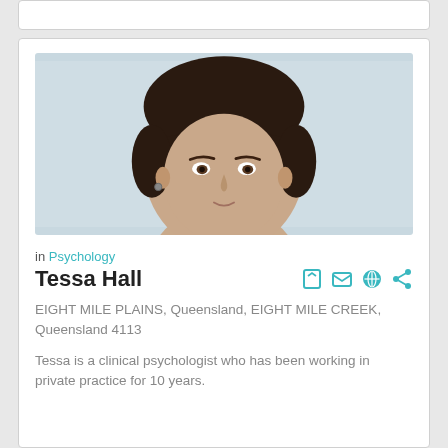[Figure (photo): Headshot photo of Tessa Hall, a woman with dark hair and bangs, cropped at chin level, light blue-gray background]
in Psychology
Tessa Hall
EIGHT MILE PLAINS, Queensland, EIGHT MILE CREEK, Queensland 4113
Tessa is a clinical psychologist who has been working in private practice for 10 years.